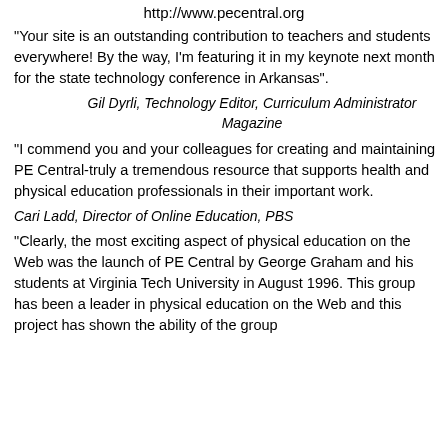http://www.pecentral.org
"Your site is an outstanding contribution to teachers and students everywhere! By the way, I'm featuring it in my keynote next month for the state technology conference in Arkansas".
Gil Dyrli, Technology Editor, Curriculum Administrator Magazine
"I commend you and your colleagues for creating and maintaining PE Central-truly a tremendous resource that supports health and physical education professionals in their important work.
Cari Ladd, Director of Online Education, PBS
"Clearly, the most exciting aspect of physical education on the Web was the launch of PE Central by George Graham and his students at Virginia Tech University in August 1996. This group has been a leader in physical education on the Web and this project has shown the ability of the group